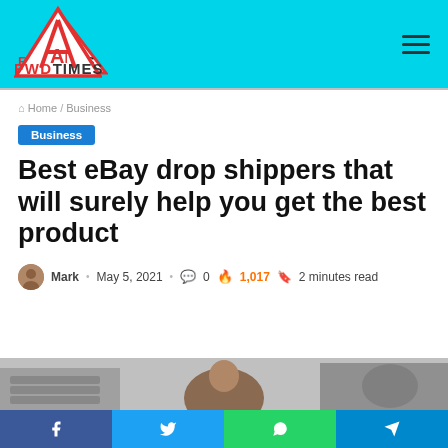FWD TIMES
Home / Business
Business
Best eBay drop shippers that will surely help you get the best product
Mark · May 5, 2021  0  1,017  2 minutes read
[Figure (photo): Photo of shipping/warehouse scene]
Social share bar: Facebook, Twitter, WhatsApp, Telegram